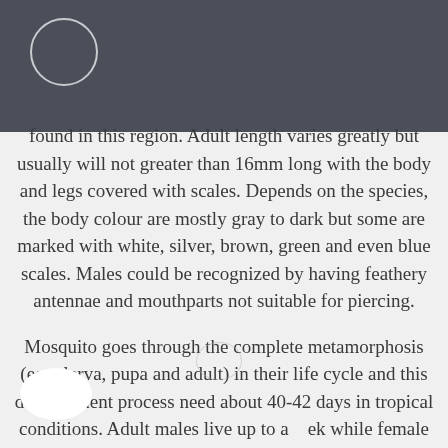found in this region. Adult length varies greatly but usually will not greater than 16mm long with the body and legs covered with scales. Depends on the species, the body colour are mostly gray to dark but some are marked with white, silver, brown, green and even blue scales. Males could be recognized by having feathery antennae and mouthparts not suitable for piercing.
Mosquito goes through the complete metamorphosis (egg, larva, pupa and adult) in their life cycle and this development process need about 40-42 days in tropical conditions. Adult males live up to a week while female life span is about 1-2 months and in nature, it could be shorter. Mosquitoes usually mate within a few days after turning into